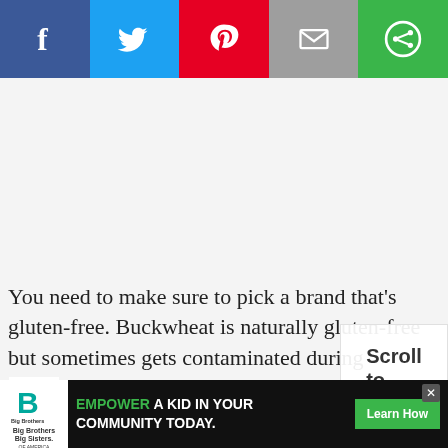[Figure (infographic): Social sharing bar with five buttons: Facebook (blue), Twitter (light blue), Pinterest (red), Email (gray), and a green share button. Each has a white icon.]
[Figure (infographic): Light gray advertisement/content placeholder area with a Wunderkind watermark logo in the bottom right corner.]
You need to make sure to pick a brand that’s gluten-free. Buckwheat is naturally gluten-free but sometimes gets contaminated during processing.
I’ve also tested the crusts with all-purpose flour and Bob’s Red Mill 1-to-1 Gluten-free Baking Mix. It’s good that we really loved these cheesecakes. ;)
[Figure (infographic): Scroll to top widget with text 'Scroll to top' in bold on white background with border, overlapping the text content.]
[Figure (infographic): Bottom advertisement banner on dark background: Big Brothers Big Sisters logo on left, green text 'EMPOWER A KID IN YOUR COMMUNITY TODAY.' with a green 'Learn How' button and an X close button.]